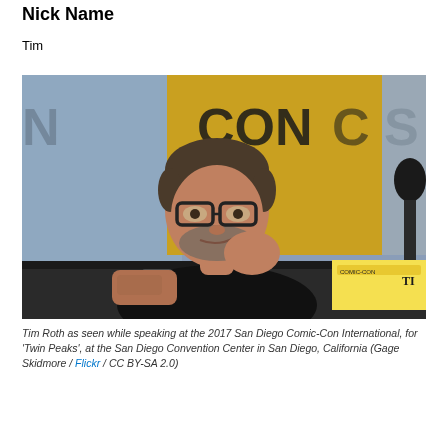Nick Name
Tim
[Figure (photo): Tim Roth seated at a panel table at the 2017 San Diego Comic-Con International, wearing black shirt and glasses, resting chin on hand, with a microphone visible to the right and Comic-Con backdrop behind him.]
Tim Roth as seen while speaking at the 2017 San Diego Comic-Con International, for 'Twin Peaks', at the San Diego Convention Center in San Diego, California (Gage Skidmore / Flickr / CC BY-SA 2.0)